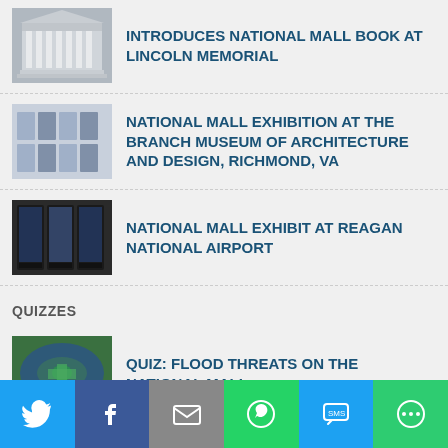INTRODUCES NATIONAL MALL BOOK AT LINCOLN MEMORIAL
NATIONAL MALL EXHIBITION AT THE BRANCH MUSEUM OF ARCHITECTURE AND DESIGN, RICHMOND, VA
NATIONAL MALL EXHIBIT AT REAGAN NATIONAL AIRPORT
QUIZZES
QUIZ: FLOOD THREATS ON THE NATIONAL MALL
QUIZ: HOW MUCH DO YOU KNOW ABOUT AMERICAN HISTORY TOLD IN OUR MEMORIALS ON THE